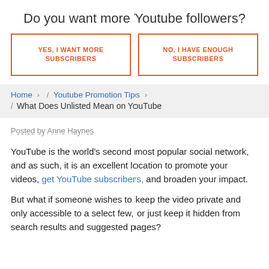Do you want more Youtube followers?
YES, I WANT MORE SUBSCRIBERS
NO, I HAVE ENOUGH SUBSCRIBERS
Home › / Youtube Promotion Tips › / What Does Unlisted Mean on YouTube
Posted by Anne Haynes
YouTube is the world's second most popular social network, and as such, it is an excellent location to promote your videos, get YouTube subscribers, and broaden your impact.
But what if someone wishes to keep the video private and only accessible to a select few, or just keep it hidden from search results and suggested pages?